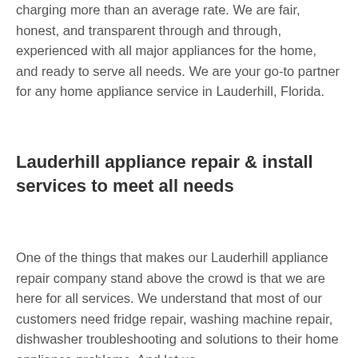charging more than an average rate. We are fair, honest, and transparent through and through, experienced with all major appliances for the home, and ready to serve all needs. We are your go-to partner for any home appliance service in Lauderhill, Florida.
Lauderhill appliance repair & install services to meet all needs
One of the things that makes our Lauderhill appliance repair company stand above the crowd is that we are here for all services. We understand that most of our customers need fridge repair, washing machine repair, dishwasher troubleshooting and solutions to their home appliance problems. And let us